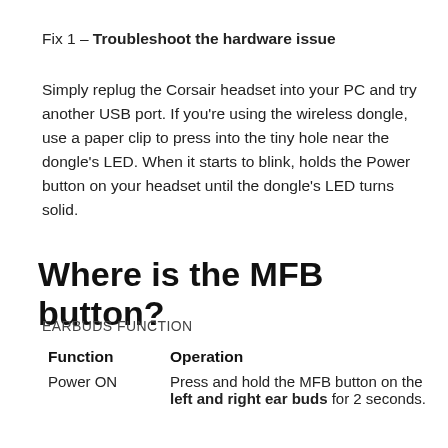Fix 1 – Troubleshoot the hardware issue
Simply replug the Corsair headset into your PC and try another USB port. If you're using the wireless dongle, use a paper clip to press into the tiny hole near the dongle's LED. When it starts to blink, holds the Power button on your headset until the dongle's LED turns solid.
Where is the MFB button?
EARBUDS FUNCTION
| Function | Operation |
| --- | --- |
| Power ON | Press and hold the MFB button on the left and right ear buds for 2 seconds. |